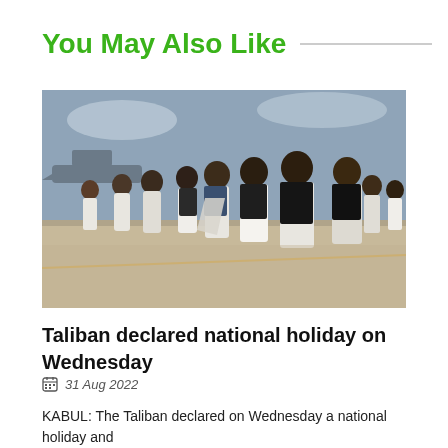You May Also Like
[Figure (photo): Group of Taliban men in traditional white and black robes standing on a tarmac, with aircraft visible in the background.]
Taliban declared national holiday on Wednesday
31 Aug 2022
KABUL: The Taliban declared on Wednesday a national holiday and